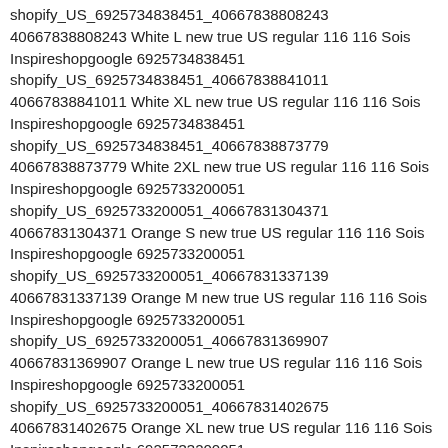shopify_US_6925734838451_40667838808243 40667838808243 White L new true US regular 116 116 Sois Inspireshopgoogle 6925734838451 shopify_US_6925734838451_40667838841011 40667838841011 White XL new true US regular 116 116 Sois Inspireshopgoogle 6925734838451 shopify_US_6925734838451_40667838873779 40667838873779 White 2XL new true US regular 116 116 Sois Inspireshopgoogle 6925733200051 shopify_US_6925733200051_40667831304371 40667831304371 Orange S new true US regular 116 116 Sois Inspireshopgoogle 6925733200051 shopify_US_6925733200051_40667831337139 40667831337139 Orange M new true US regular 116 116 Sois Inspireshopgoogle 6925733200051 shopify_US_6925733200051_40667831369907 40667831369907 Orange L new true US regular 116 116 Sois Inspireshopgoogle 6925733200051 shopify_US_6925733200051_40667831402675 40667831402675 Orange XL new true US regular 116 116 Sois Inspireshopgoogle 6925733200051 shopify_US_6925733200051_40667831435443 40667831435443 White S new true US regular 116 116 Sois Inspireshopgoogle 6925733200051 shopify_US_6925733200051_40667831468211 40667831468211 White M new true US regular 116 116 Sois Inspireshopgoogle 6925733200051 shopify_US_6925733200051_40667831500979 40667831500979 White L new true US regular 116 116 Sois Inspireshopgoogle 6925733200051